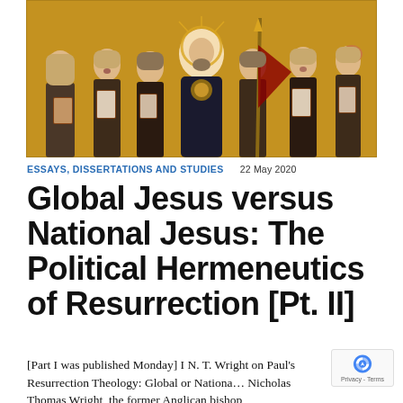[Figure (photo): Religious painting depicting a central figure of Christ surrounded by angels/saints holding books and a staff, rendered in a medieval/Renaissance style with golden tones]
ESSAYS, DISSERTATIONS AND STUDIES   22 MAY 2020
Global Jesus versus National Jesus: The Political Hermeneutics of Resurrection [Pt. II]
[Part I was published Monday] I N. T. Wright on Paul's Resurrection Theology: Global or National? Nicholas Thomas Wright, the former Anglican bishop